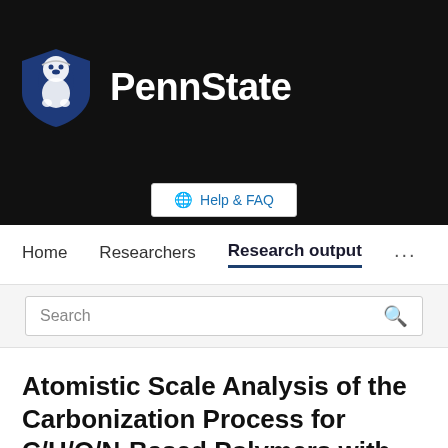[Figure (logo): Penn State University logo with lion mascot shield and PennState wordmark in white on dark background]
Help & FAQ
Home   Researchers   Research output   ...
Search
Atomistic Scale Analysis of the Carbonization Process for C/H/O/N-Based Polymers with the ReaxFF Reactive Force Field